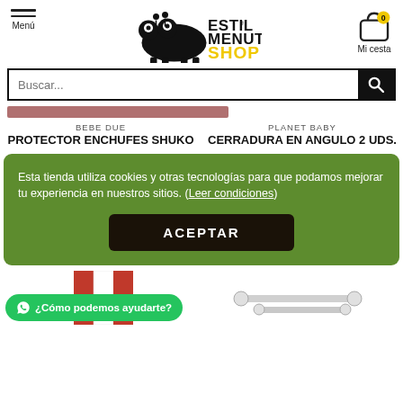Menú | ESTIL MENUT SHOP | Mi cesta 0
Buscar...
BEBE DUE
PROTECTOR ENCHUFES SHUKO
PLANET BABY
CERRADURA EN ANGULO 2 UDS.
Esta tienda utiliza cookies y otras tecnologías para que podamos mejorar tu experiencia en nuestros sitios. (Leer condiciones)
ACEPTAR
¿Cómo podemos ayudarte?